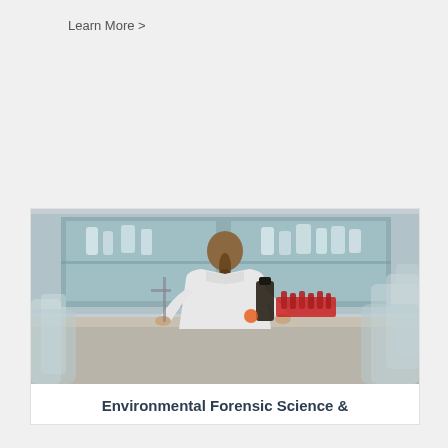Learn More >
[Figure (photo): A scientist in a white lab coat viewed from behind, working at a laboratory bench surrounded by glass bottles, flasks, and equipment on shelves.]
Environmental Forensic Science &